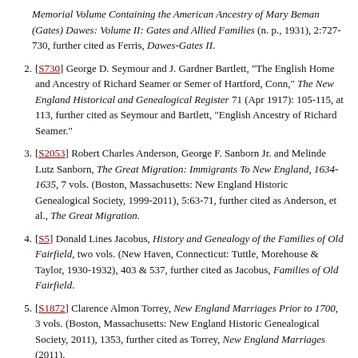continuation: Memorial Volume Containing the American Ancestry of Mary Beman (Gates) Dawes: Volume II: Gates and Allied Families (n. p., 1931), 2:727-730, further cited as Ferris, Dawes-Gates II.
2. [S730] George D. Seymour and J. Gardner Bartlett, "The English Home and Ancestry of Richard Seamer or Semer of Hartford, Conn," The New England Historical and Genealogical Register 71 (Apr 1917): 105-115, at 113, further cited as Seymour and Bartlett, "English Ancestry of Richard Seamer."
3. [S2053] Robert Charles Anderson, George F. Sanborn Jr. and Melinde Lutz Sanborn, The Great Migration: Immigrants To New England, 1634-1635, 7 vols. (Boston, Massachusetts: New England Historic Genealogical Society, 1999-2011), 5:63-71, further cited as Anderson, et al., The Great Migration.
4. [S5] Donald Lines Jacobus, History and Genealogy of the Families of Old Fairfield, two vols. (New Haven, Connecticut: Tuttle, Morehouse & Taylor, 1930-1932), 403 & 537, further cited as Jacobus, Families of Old Fairfield.
5. [S1872] Clarence Almon Torrey, New England Marriages Prior to 1700, 3 vols. (Boston, Massachusetts: New England Historic Genealogical Society, 2011), 1353, further cited as Torrey, New England Marriages (2011).
6. [S5] Jacobus, Families of Old Fairfield, 537.